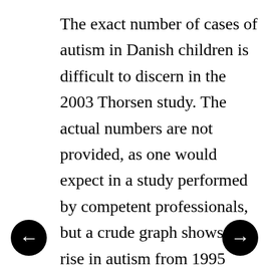The exact number of cases of autism in Danish children is difficult to discern in the 2003 Thorsen study. The actual numbers are not provided, as one would expect in a study performed by competent professionals, but a crude graph shows a rise in autism from 1995 through 1999. But even the 2003 Thorsen study graph showed a decline in 2000. Numbers before 1995 are not reliable because only children diagnosed and hospitalized for autism are included in the national registries, which Thorsen identifies as less than 10% of all cases of autism in Danish children. Regardless, the authors concluded, “The discontinuation of thimerosal-containing vaccines in Denmark in 1992 was followed by an increase in the incidence of autism. Our ecological data do